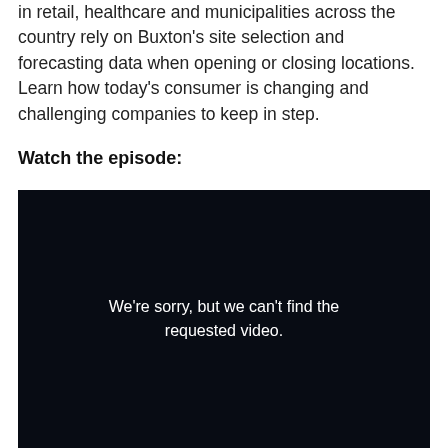in retail, healthcare and municipalities across the country rely on Buxton's site selection and forecasting data when opening or closing locations. Learn how today's consumer is changing and challenging companies to keep in step.
Watch the episode:
[Figure (screenshot): Video player showing a dark/black background with error message: We're sorry, but we can't find the requested video.]